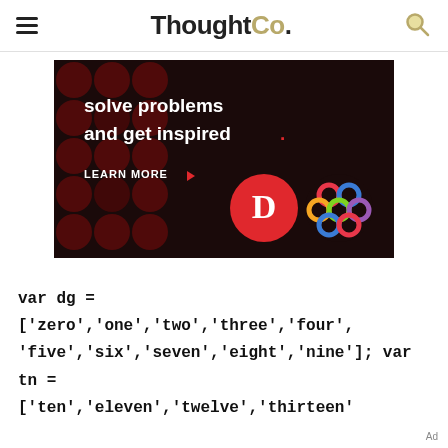ThoughtCo.
[Figure (screenshot): Advertisement banner with dark background showing red circles pattern, text 'solve problems and get inspired.' with a red period, 'LEARN MORE' button with red arrow, and logos for Dictionary.com and another service.]
var dg =
['zero','one','two','three','four',
'five','six','seven','eight','nine']; var
tn =
['ten','eleven','twelve','thirteen'